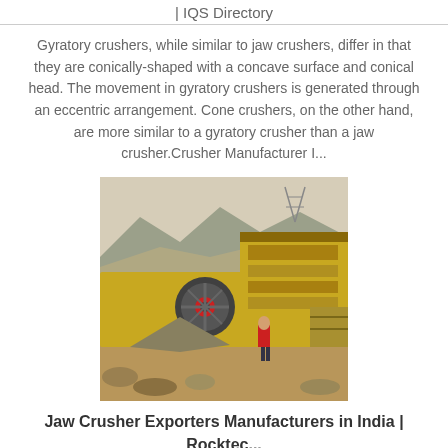| IQS Directory
Gyratory crushers, while similar to jaw crushers, differ in that they are conically-shaped with a concave surface and conical head. The movement in gyratory crushers is generated through an eccentric arrangement. Cone crushers, on the other hand, are more similar to a gyratory crusher than a jaw crusher.Crusher Manufacturer I...
[Figure (photo): Photo of a jaw crusher machine in an outdoor quarry setting with mountains in the background. A yellow crushing machine is visible with a worker in a red shirt nearby.]
Jaw Crusher Exporters Manufacturers in India | Rocktec...
Jaw crusher exporters and manufacturers in Mumbai, India to all over the world jaw